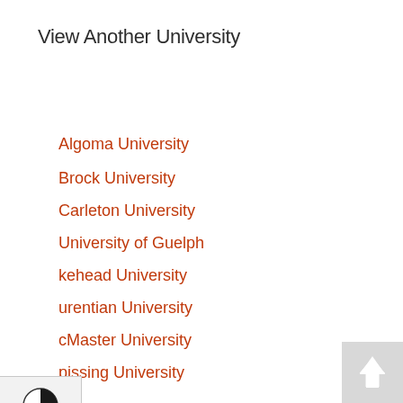View Another University
Algoma University
Brock University
Carleton University
University of Guelph
Lakehead University
Laurentian University
McMaster University
Nipissing University
OCAD University
Université de l'Ontario français
Ontario Tech University
University of Ottawa
Queen's University
[Figure (other): Accessibility widget panel on left showing contrast toggle (half-black/half-white circle icon) and font size toggle (TT icon)]
[Figure (other): Back to top button in bottom-right corner with upward arrow]